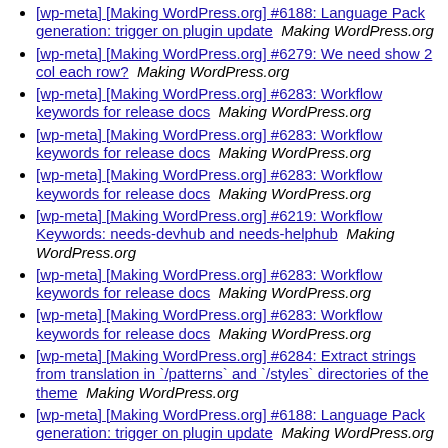[wp-meta] [Making WordPress.org] #6188: Language Pack generation: trigger on plugin update  Making WordPress.org
[wp-meta] [Making WordPress.org] #6279: We need show 2 col each row?  Making WordPress.org
[wp-meta] [Making WordPress.org] #6283: Workflow keywords for release docs  Making WordPress.org
[wp-meta] [Making WordPress.org] #6283: Workflow keywords for release docs  Making WordPress.org
[wp-meta] [Making WordPress.org] #6283: Workflow keywords for release docs  Making WordPress.org
[wp-meta] [Making WordPress.org] #6219: Workflow Keywords: needs-devhub and needs-helphub  Making WordPress.org
[wp-meta] [Making WordPress.org] #6283: Workflow keywords for release docs  Making WordPress.org
[wp-meta] [Making WordPress.org] #6283: Workflow keywords for release docs  Making WordPress.org
[wp-meta] [Making WordPress.org] #6284: Extract strings from translation in `/patterns` and `/styles` directories of the theme  Making WordPress.org
[wp-meta] [Making WordPress.org] #6188: Language Pack generation: trigger on plugin update  Making WordPress.org
[wp-meta] [Making WordPress.org] #5654: Plugin Directory: Prevent adding new users/transfering ownership of FEATURED or BETA plugins  Making WordPress.org